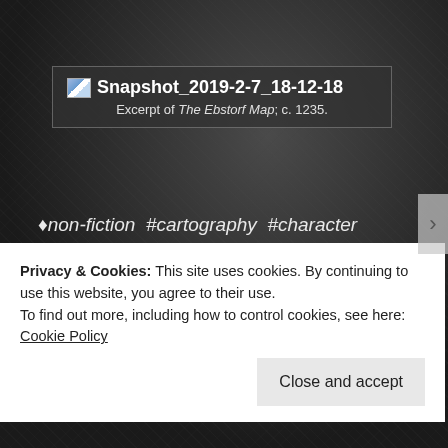[Figure (screenshot): Broken image placeholder with filename 'Snapshot_2019-2-7_18-12-18' and caption 'Excerpt of The Ebstorf Map; c. 1235.' shown on a dark textured background]
Excerpt of The Ebstorf Map; c. 1235.
♦non-fiction #cartography #character #compass #description #direction #east #fiction #geography #guide #literature #map #mappa mundi #nonficiton #north #place #setting #south #topology #west
Privacy & Cookies: This site uses cookies. By continuing to use this website, you agree to their use.
To find out more, including how to control cookies, see here: Cookie Policy
Close and accept